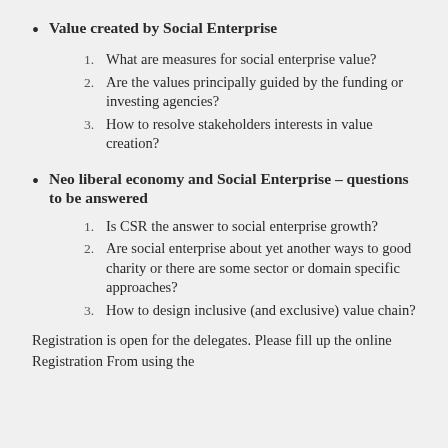Value created by Social Enterprise
1. What are measures for social enterprise value?
2. Are the values principally guided by the funding or investing agencies?
3. How to resolve stakeholders interests in value creation?
Neo liberal economy and Social Enterprise – questions to be answered
1. Is CSR the answer to social enterprise growth?
2. Are social enterprise about yet another ways to good charity or there are some sector or domain specific approaches?
3. How to design inclusive (and exclusive) value chain?
Registration is open for the delegates. Please fill up the online Registration From using the